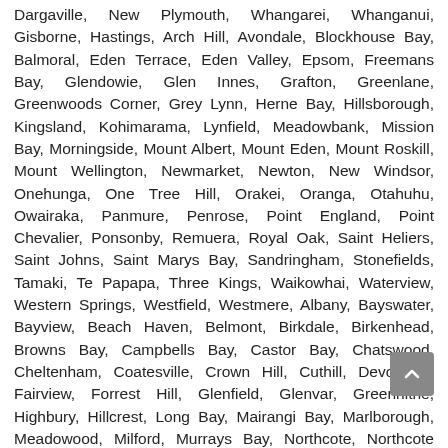Dargaville, New Plymouth, Whangarei, Whanganui, Gisborne, Hastings, Arch Hill, Avondale, Blockhouse Bay, Balmoral, Eden Terrace, Eden Valley, Epsom, Freemans Bay, Glendowie, Glen Innes, Grafton, Greenlane, Greenwoods Corner, Grey Lynn, Herne Bay, Hillsborough, Kingsland, Kohimarama, Lynfield, Meadowbank, Mission Bay, Morningside, Mount Albert, Mount Eden, Mount Roskill, Mount Wellington, Newmarket, Newton, New Windsor, Onehunga, One Tree Hill, Orakei, Oranga, Otahuhu, Owairaka, Panmure, Penrose, Point England, Point Chevalier, Ponsonby, Remuera, Royal Oak, Saint Heliers, Saint Johns, Saint Marys Bay, Sandringham, Stonefields, Tamaki, Te Papapa, Three Kings, Waikowhai, Waterview, Western Springs, Westfield, Westmere, Albany, Bayswater, Bayview, Beach Haven, Belmont, Birkdale, Birkenhead, Browns Bay, Campbells Bay, Castor Bay, Chatswood, Cheltenham, Coatesville, Crown Hill, Cuthill, Devonport, Fairview, Forrest Hill, Glenfield, Glenvar, Greenhithe, Highbury, Hillcrest, Long Bay, Mairangi Bay, Marlborough, Meadowood, Milford, Murrays Bay, Northcote, Northcote Central, Northcote Point, North Harbour, Northcross, Rosedale, Rothesay Bay, Oteha, Pinehill, Stanley Bay, Stanley Point, Sunnynook, Takapuna, Torbay, Totara Vale, Waiake, Wairau Valley, Westlake, Windsor Park, Unsworth Heights, Airport Oaks, Beachlands, Brookby, Bucklands Beach, Chapel Downs, Clendon, Clevedon, Clover Park,